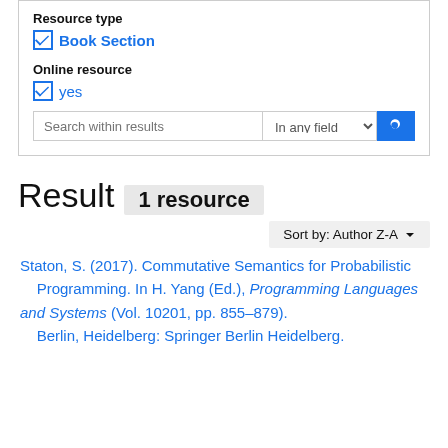Resource type
Book Section
Online resource
yes
Search within results | In any field
Result  1 resource
Sort by: Author Z-A
Staton, S. (2017). Commutative Semantics for Probabilistic Programming. In H. Yang (Ed.), Programming Languages and Systems (Vol. 10201, pp. 855–879). Berlin, Heidelberg: Springer Berlin Heidelberg.